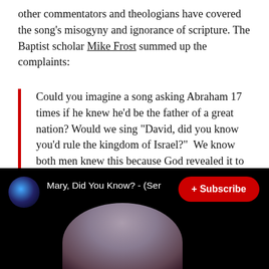other commentators and theologians have covered the song's misogyny and ignorance of scripture. The Baptist scholar Mike Frost summed up the complaints:
Could you imagine a song asking Abraham 17 times if he knew he'd be the father of a great nation? Would we sing "David, did you know you'd rule the kingdom of Israel?" We know both men knew this because God revealed it to them. But to the woman, Mary, we sing a condescending Christmas song asking her if she had any idea what on earth she was doing.
[Figure (screenshot): YouTube video thumbnail showing 'Mary, Did You Know? - (Ser...' with a Subscribe button and a woman in the video frame]